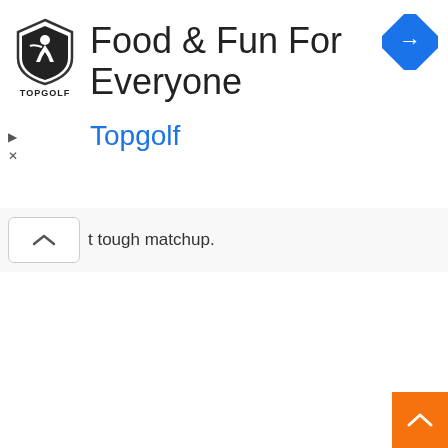[Figure (logo): Topgolf shield logo with golfer silhouette and TOPGOLF text below]
Food & Fun For Everyone
[Figure (other): Blue diamond navigation/turn right icon]
Topgolf
t tough matchup.
[Figure (other): Orange scroll-to-top button with upward chevron]